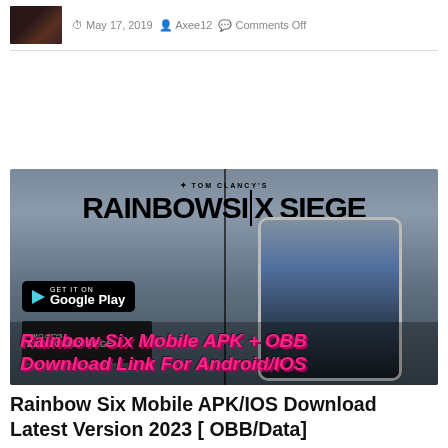[Figure (photo): Small thumbnail image of a dark scene, likely a game screenshot]
May 17, 2019  Axee12  Comments Off
[Figure (illustration): Tom Clancy's Rainbow Six Siege game banner with Google Play badge, phone mockup showing game environment, mini banner, and overlay text: Rainbow Six Mobile APK + OBB Download Link For Android/IOS]
Rainbow Six Mobile APK/IOS Download Latest Version 2023 [ OBB/Data]